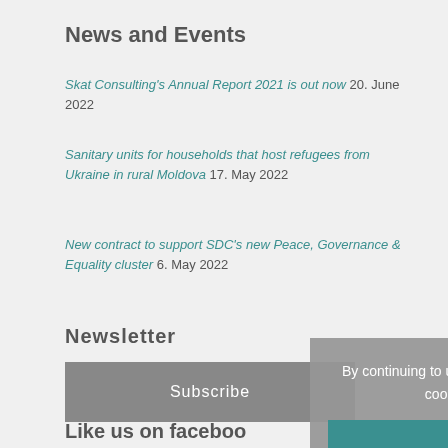News and Events
Skat Consulting's Annual Report 2021 is out now 20. June 2022
Sanitary units for households that host refugees from Ukraine in rural Moldova 17. May 2022
New contract to support SDC's new Peace, Governance & Equality cluster 6. May 2022
Newsletter
Subscribe
Like us on facebook
By continuing to use the site, you agree to the use of cookies. more information
Accept